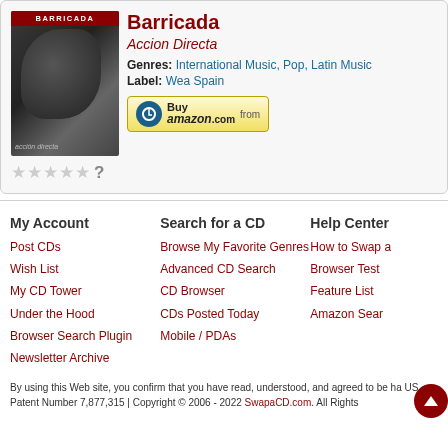[Figure (photo): Album cover for Barricada - Accion Directa, showing dark/grey imagery with red text overlay at top]
Barricada
Accion Directa
Genres: International Music, Pop, Latin Music
Label: Wea Spain
[Figure (other): Buy from amazon.com button]
★★★★★ ?
My Account
Post CDs
Wish List
My CD Tower
Under the Hood
Browser Search Plugin
Newsletter Archive
Search for a CD
Browse My Favorite Genres
Advanced CD Search
CD Browser
CDs Posted Today
Mobile / PDAs
Help Center
How to Swap a
Browser Test
Feature List
Amazon Sear
By using this Web site, you confirm that you have read, understood, and agreed to be ha US Patent Number 7,877,315 | Copyright © 2006 - 2022 SwapaCD.com. All Rights